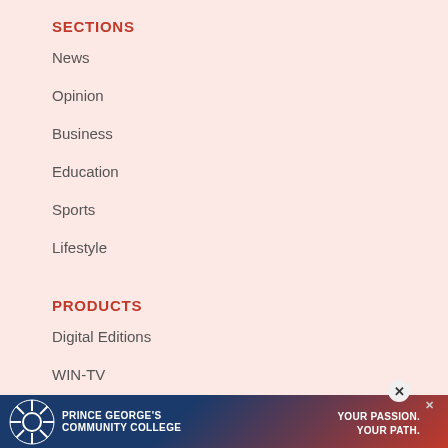SECTIONS
News
Opinion
Business
Education
Sports
Lifestyle
PRODUCTS
Digital Editions
WIN-TV
WI Bridge
[Figure (photo): Prince George's Community College advertisement banner with logo, a nurse photo, and tagline 'YOUR PASSION. YOUR PATH.']